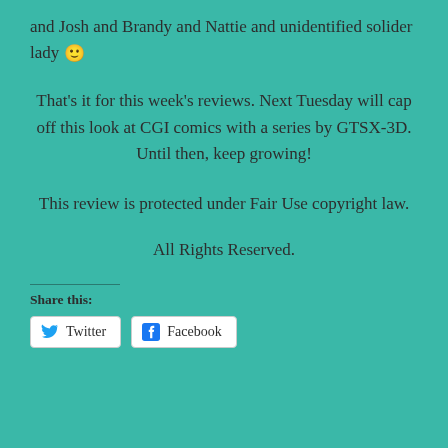and Josh and Brandy and Nattie and unidentified solider lady 🙂
That's it for this week's reviews. Next Tuesday will cap off this look at CGI comics with a series by GTSX-3D. Until then, keep growing!
This review is protected under Fair Use copyright law.
All Rights Reserved.
Share this:
Twitter   Facebook